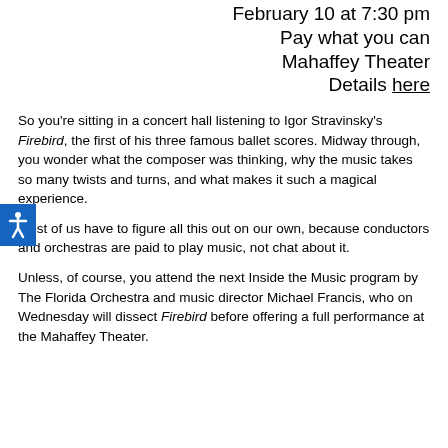February 10 at 7:30 pm
Pay what you can
Mahaffey Theater
Details here
So you're sitting in a concert hall listening to Igor Stravinsky's Firebird, the first of his three famous ballet scores. Midway through, you wonder what the composer was thinking, why the music takes so many twists and turns, and what makes it such a magical experience.
Most of us have to figure all this out on our own, because conductors and orchestras are paid to play music, not chat about it.
Unless, of course, you attend the next Inside the Music program by The Florida Orchestra and music director Michael Francis, who on Wednesday will dissect Firebird before offering a full performance at the Mahaffey Theater.